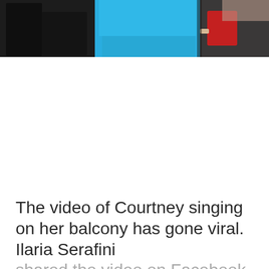[Figure (photo): Photograph showing people. Left portion is dark/shadowed, center person wears a bright blue top, right portion shows another person partially visible against a dark background with a red accent visible.]
The video of Courtney singing on her balcony has gone viral. Ilaria Serafini shared the video on Facebook saying, “The